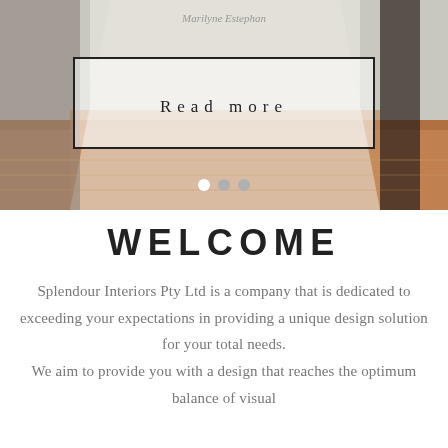[Figure (photo): Interior room photo showing wooden floors and bright light, with a slider hero image containing author name 'Marilyne Estephan' and a 'Read more' button with three navigation dots.]
WELCOME
Splendour Interiors Pty Ltd is a company that is dedicated to exceeding your expectations in providing a unique design solution for your total needs.
We aim to provide you with a design that reaches the optimum balance of visual